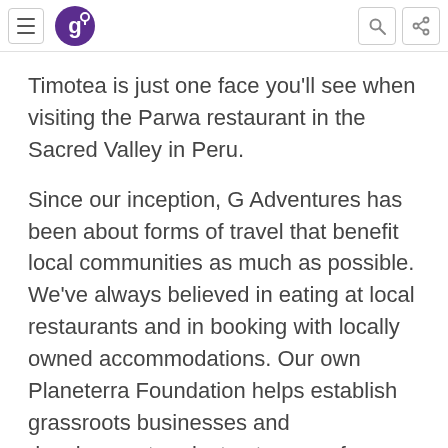[G Adventures logo, hamburger menu, search icon, share icon]
Timotea is just one face you'll see when visiting the Parwa restaurant in the Sacred Valley in Peru.
Since our inception, G Adventures has been about forms of travel that benefit local communities as much as possible. We've always believed in eating at local restaurants and in booking with locally owned accommodations. Our own Planeterra Foundation helps establish grassroots businesses and development projects at many of our most popular